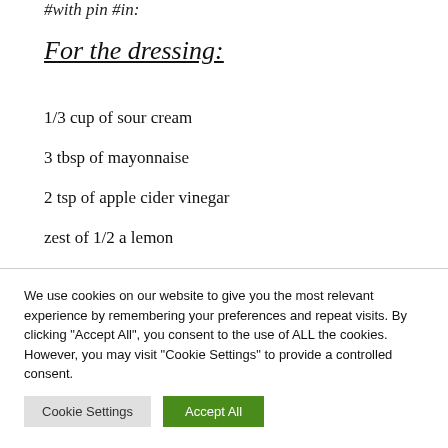#with pin #in:
For the dressing:
1/3 cup of sour cream
3 tbsp of mayonnaise
2 tsp of apple cider vinegar
zest of 1/2 a lemon
We use cookies on our website to give you the most relevant experience by remembering your preferences and repeat visits. By clicking "Accept All", you consent to the use of ALL the cookies. However, you may visit "Cookie Settings" to provide a controlled consent.